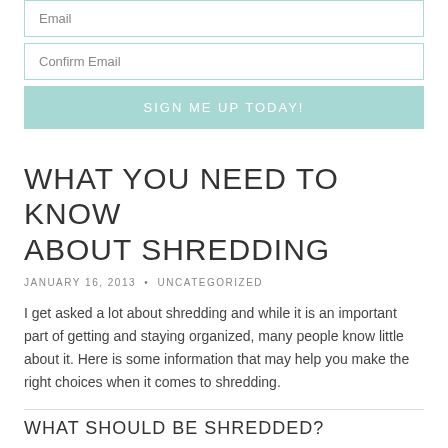[Figure (other): Email input field (form element placeholder text)]
[Figure (other): Confirm Email input field (form element placeholder text)]
[Figure (other): Sign Me Up Today! button]
WHAT YOU NEED TO KNOW ABOUT SHREDDING
JANUARY 16, 2013 • UNCATEGORIZED
I get asked a lot about shredding and while it is an important part of getting and staying organized, many people know little about it.  Here is some information that may help you make the right choices when it comes to shredding.
WHAT SHOULD BE SHREDDED?